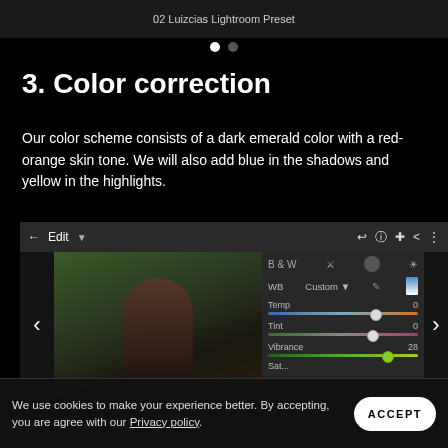[Figure (screenshot): Top partial screenshot showing '02 Luizcias Lightroom Preset' label on dark background]
[Figure (infographic): Carousel pagination dots: one filled white, one grey]
3. Color correction
Our color scheme consists of a dark emerald color with a red-orange skin tone. We will also add blue in the shadows and yellow in the highlights.
[Figure (screenshot): Lightroom mobile screenshot showing a woman's photo being edited with WB settings panel open: WB Custom, Temp 0, Tint 0, Vibrance 28]
We use cookies to make your experience better. By accepting, you are agree with our Privacy policy.